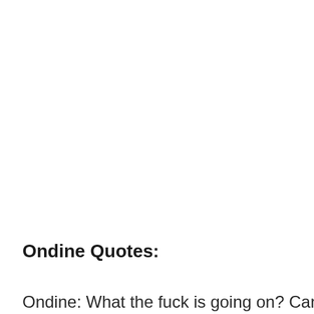Ondine Quotes:
Ondine: What the fuck is going on? Can you tell me